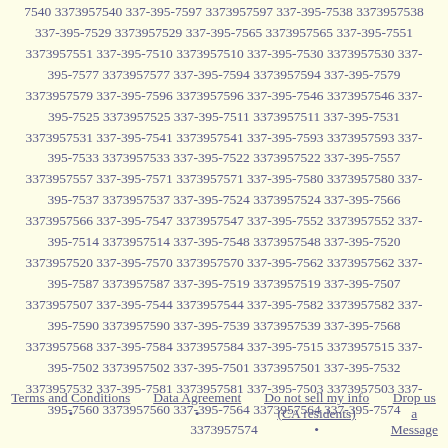7540 3373957540 337-395-7597 3373957597 337-395-7538 3373957538 337-395-7529 3373957529 337-395-7565 3373957565 337-395-7551 3373957551 337-395-7510 3373957510 337-395-7530 3373957530 337-395-7577 3373957577 337-395-7594 3373957594 337-395-7579 3373957579 337-395-7596 3373957596 337-395-7546 3373957546 337-395-7525 3373957525 337-395-7511 3373957511 337-395-7531 3373957531 337-395-7541 3373957541 337-395-7593 3373957593 337-395-7533 3373957533 337-395-7522 3373957522 337-395-7557 3373957557 337-395-7571 3373957571 337-395-7580 3373957580 337-395-7537 3373957537 337-395-7524 3373957524 337-395-7566 3373957566 337-395-7547 3373957547 337-395-7552 3373957552 337-395-7514 3373957514 337-395-7548 3373957548 337-395-7520 3373957520 337-395-7570 3373957570 337-395-7562 3373957562 337-395-7587 3373957587 337-395-7519 3373957519 337-395-7507 3373957507 337-395-7544 3373957544 337-395-7582 3373957582 337-395-7590 3373957590 337-395-7539 3373957539 337-395-7568 3373957568 337-395-7584 3373957584 337-395-7515 3373957515 337-395-7502 3373957502 337-395-7501 3373957501 337-395-7532 3373957532 337-395-7581 3373957581 337-395-7503 3373957503 337-395-7560 3373957560 337-395-7564 3373957564 337-395-7574 3373957574
Terms and Conditions * Data Agreement * Do not sell my info (CA residents) * Drop us a Message